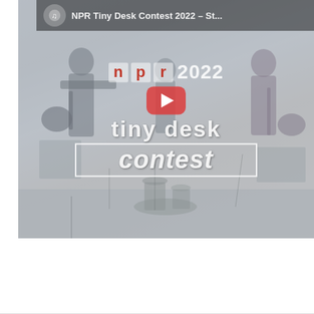[Figure (screenshot): Screenshot of a YouTube video thumbnail for 'NPR Tiny Desk Contest 2022' showing a band playing instruments in a room with the NPR Tiny Desk Contest 2022 logo overlay, a YouTube play button, and text reading 'tiny desk contest'. A top bar shows a channel icon and the partial title 'NPR Tiny Desk Contest 2022 – St...' The lower portion of the page is white/blank.]